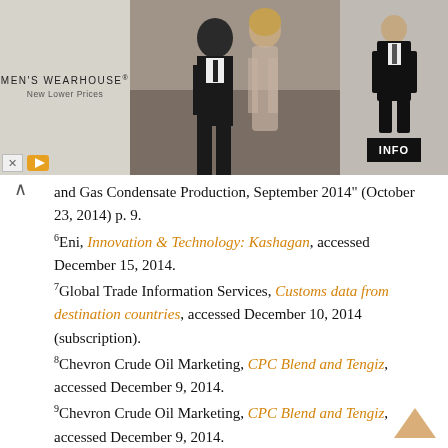[Figure (photo): Men's Wearhouse advertisement banner with couple in formal attire and a man in a tuxedo on the right side with an INFO button]
and Gas Condensate Production, September 2014" (October 23, 2014) p. 9.
6Eni, Innovation & Technology: Kashagan, accessed December 15, 2014.
7Global Trade Information Services, Customs data from destination countries, accessed December 10, 2014 (subscription).
8Chevron Crude Oil Marketing, CPC Blend and Tengiz, accessed December 9, 2014.
9Chevron Crude Oil Marketing, CPC Blend and Tengiz, accessed December 9, 2014.
10Chevron, Kazakhstan Fact Sheet, accessed December 9, 2014.
11Lukoil, Fact Book – 2013, International projects –